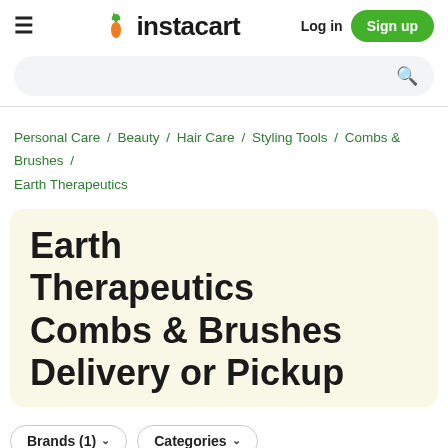Instacart — Log in | Sign up
Search bar
Personal Care / Beauty / Hair Care / Styling Tools / Combs & Brushes / Earth Therapeutics
Earth Therapeutics Combs & Brushes Delivery or Pickup
Brands (1)
Categories